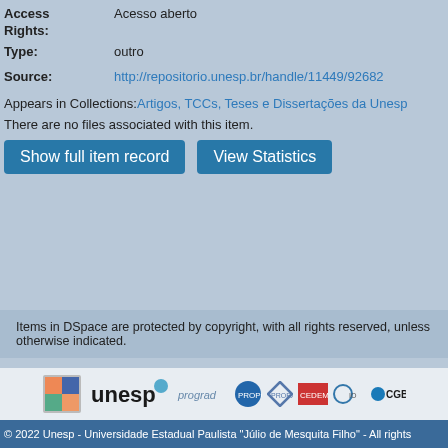Access Rights: Acesso aberto
Type: outro
Source: http://repositorio.unesp.br/handle/11449/92682
Appears in Collections: Artigos, TCCs, Teses e Dissertações da Unesp
There are no files associated with this item.
Show full item record
View Statistics
Items in DSpace are protected by copyright, with all rights reserved, unless otherwise indicated.
© 2022 Unesp - Universidade Estadual Paulista "Júlio de Mesquita Filho" - All rights